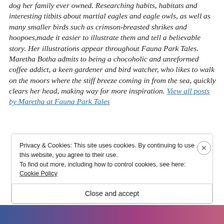dog her family ever owned. Researching habits, habitats and interesting titbits about martial eagles and eagle owls, as well as many smaller birds such as crimson-breasted shrikes and hoopoes,made it easier to illustrate them and tell a believable story. Her illustrations appear throughout Fauna Park Tales. Maretha Botha admits to being a chocoholic and unreformed coffee addict, a keen gardener and bird watcher, who likes to walk on the moors where the stiff breeze coming in from the sea, quickly clears her head, making way for more inspiration. View all posts by Maretha at Fauna Park Tales
Privacy & Cookies: This site uses cookies. By continuing to use this website, you agree to their use. To find out more, including how to control cookies, see here: Cookie Policy
Close and accept